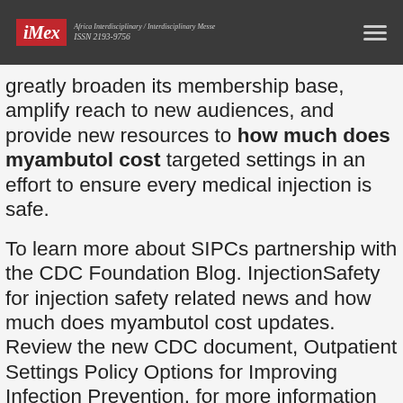iMex — Africa Interdisciplinary / Interdisciplinary Messe — ISSN 2193-9756
greatly broaden its membership base, amplify reach to new audiences, and provide new resources to how much does myambutol cost targeted settings in an effort to ensure every medical injection is safe.
To learn more about SIPCs partnership with the CDC Foundation Blog. InjectionSafety for injection safety related news and how much does myambutol cost updates. Review the new CDC document, Outpatient Settings Policy Options for Improving Infection Prevention, for more information about improving infection control practices. InjectionSafety for injection safety related news and updates.